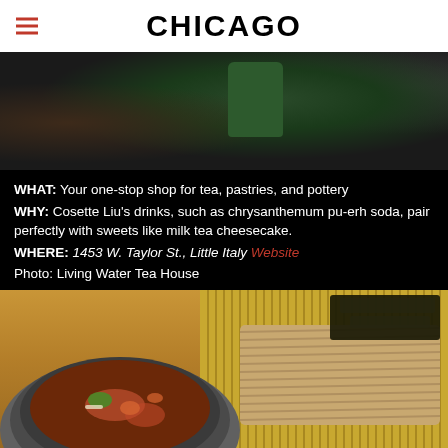CHICAGO
[Figure (photo): Close-up photo of tea-related items on a dark surface, including what appears to be a dark fabric/pottery and a green cylindrical container]
WHAT: Your one-stop shop for tea, pastries, and pottery
WHY: Cosette Liu's drinks, such as chrysanthemum pu-erh soda, pair perfectly with sweets like milk tea cheesecake.
WHERE: 1453 W. Taylor St., Little Italy Website
Photo: Living Water Tea House
[Figure (photo): Photo of a bowl of broth/soup with vegetables and a bamboo mat with soba noodles topped with nori seaweed, on a wooden table]